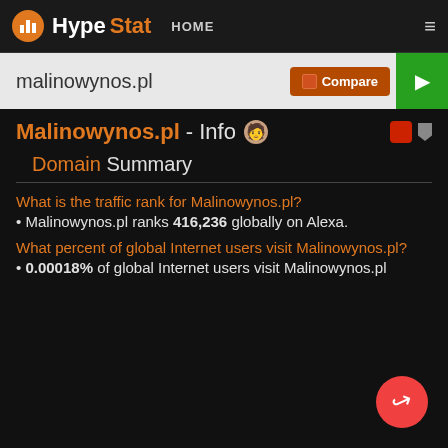HypeStat HOME
malinowynos.pl
Malinowynos.pl - Info
Domain Summary
What is the traffic rank for Malinowynos.pl?
Malinowynos.pl ranks 416,236 globally on Alexa.
What percent of global Internet users visit Malinowynos.pl?
0.00018% of global Internet users visit Malinowynos.pl